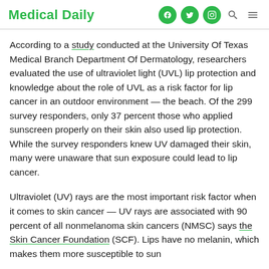Medical Daily
According to a study conducted at the University Of Texas Medical Branch Department Of Dermatology, researchers evaluated the use of ultraviolet light (UVL) lip protection and knowledge about the role of UVL as a risk factor for lip cancer in an outdoor environment — the beach. Of the 299 survey responders, only 37 percent those who applied sunscreen properly on their skin also used lip protection. While the survey responders knew UV damaged their skin, many were unaware that sun exposure could lead to lip cancer.
Ultraviolet (UV) rays are the most important risk factor when it comes to skin cancer — UV rays are associated with 90 percent of all nonmelanoma skin cancers (NMSC) says the Skin Cancer Foundation (SCF). Lips have no melanin, which makes them more susceptible to sun